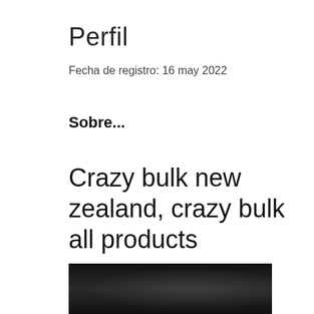Perfil
Fecha de registro: 16 may 2022
Sobre...
Crazy bulk new zealand, crazy bulk all products
Crazy bulk new zealand, crazy bulk all products - Buy anabolic steroids online
[Figure (photo): Dark blurred image, likely a product or supplement photo]